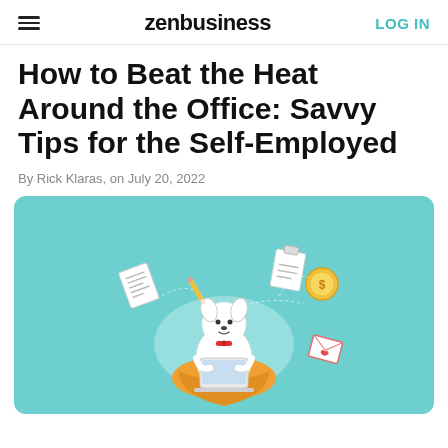zenbusiness | LOG IN
How to Beat the Heat Around the Office: Savvy Tips for the Self-Employed
By Rick Klaras, on July 20, 2022
[Figure (illustration): Cartoon illustration of a white dog character sitting on an orange bean bag, working on a laptop, surrounded by floating business icons including documents, a pencil, a coin, and a clipboard, on a teal/light blue background.]